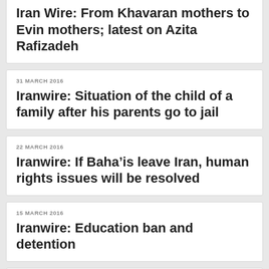Iran Wire: From Khavaran mothers to Evin mothers; latest on Azita Rafizadeh
31 MARCH 2016
Iranwire: Situation of the child of a family after his parents go to jail
22 MARCH 2016
Iranwire: If Baha’is leave Iran, human rights issues will be resolved
15 MARCH 2016
Iranwire: Education ban and detention
10 MARCH 2016
The tribute by Baha'i community leaders (Yaran) in prison to commemorate their...